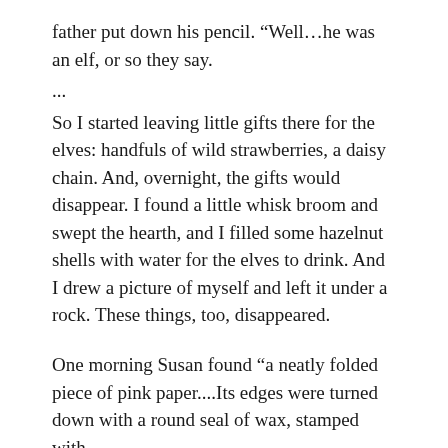father put down his pencil. “Well…he was an elf, or so they say.
...
So I started leaving little gifts there for the elves: handfuls of wild strawberries, a daisy chain. And, overnight, the gifts would disappear. I found a little whisk broom and swept the hearth, and I filled some hazelnut shells with water for the elves to drink. And I drew a picture of myself and left it under a rock. These things, too, disappeared.
One morning Susan found “a neatly folded piece of pink paper....Its edges were turned down with a round seal of wax, stamped with